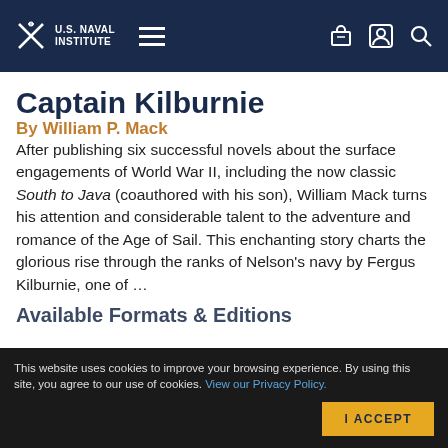U.S. Naval Institute
Captain Kilburnie
By William P. Mack
After publishing six successful novels about the surface engagements of World War II, including the now classic South to Java (coauthored with his son), William Mack turns his attention and considerable talent to the adventure and romance of the Age of Sail. This enchanting story charts the glorious rise through the ranks of Nelson's navy by Fergus Kilburnie, one of …
This website uses cookies to improve your browsing experience. By using this site, you agree to our use of cookies. View our Privacy Policy.